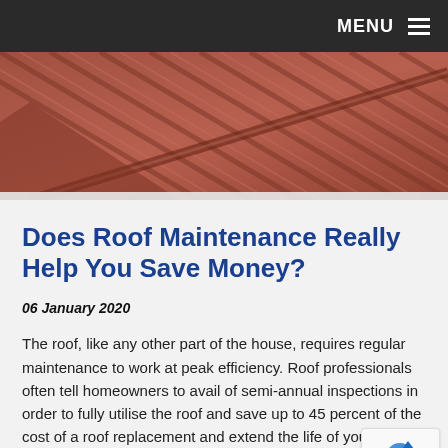MENU
[Figure (photo): Close-up photo of a red/terracotta corrugated metal roof with diagonal ridgelines visible]
Does Roof Maintenance Really Help You Save Money?
06 January 2020
The roof, like any other part of the house, requires regular maintenance to work at peak efficiency. Roof professionals often tell homeowners to avail of semi-annual inspections in order to fully utilise the roof and save up to 45 percent of the cost of a roof replacement and extend the life of your roof through corrective maintenance. Below are other ways on how roof maintenance can really help you save